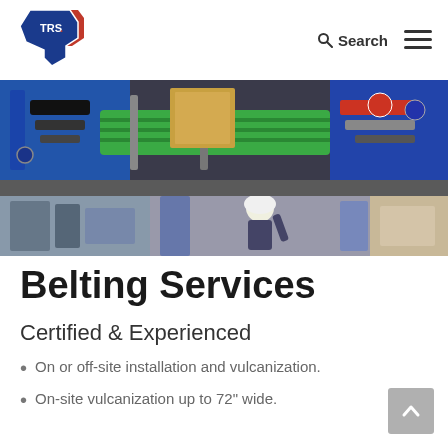[Figure (logo): TRS Texas logo with red and blue Texas state shape and TRS text]
Search ≡
[Figure (photo): Conveyor belt machinery with green belt and industrial equipment]
[Figure (photo): Workers installing or servicing industrial belting equipment]
Belting Services
Certified & Experienced
On or off-site installation and vulcanization.
On-site vulcanization up to 72" wide.